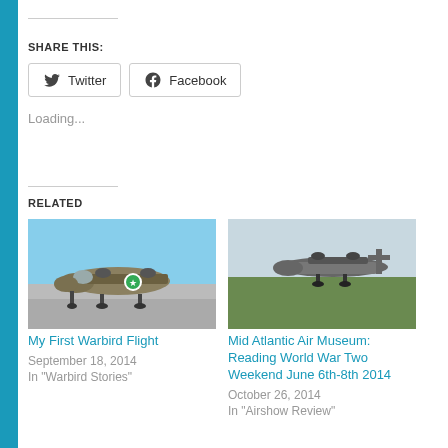SHARE THIS:
Twitter  Facebook
Loading...
RELATED
[Figure (photo): WWII bomber aircraft on tarmac, front view, olive drab paint with US star insignia]
My First Warbird Flight
September 18, 2014
In "Warbird Stories"
[Figure (photo): WWII bomber aircraft in flight or landing on grass airfield, side view]
Mid Atlantic Air Museum: Reading World War Two Weekend June 6th-8th 2014
October 26, 2014
In "Airshow Review"